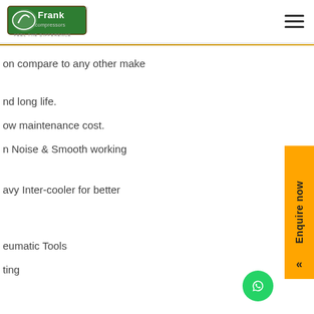Frank Compressors - FEEL THE DIFFERENCE
on compare to any other make
nd long life.
ow maintenance cost.
n Noise & Smooth working
avy Inter-cooler for better
eumatic Tools
ting
[Figure (logo): Frank Compressors logo - green rectangular logo with oval shape and text FEEL THE DIFFERENCE]
[Figure (other): Enquire now vertical sidebar button in orange/yellow color with chevron arrows]
[Figure (other): WhatsApp floating action button - green circle with WhatsApp icon]